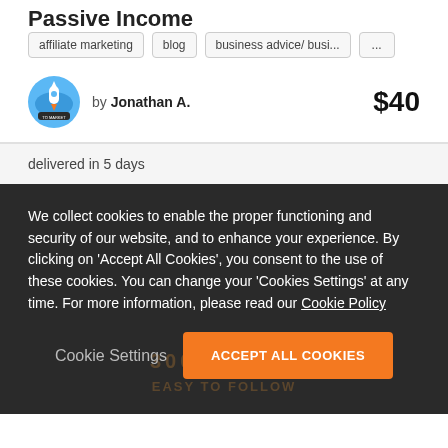Passive Income
affiliate marketing
blog
business advice/ busi...
...
by Jonathan A.   $40
delivered in 5 days
We collect cookies to enable the proper functioning and security of our website, and to enhance your experience. By clicking on 'Accept All Cookies', you consent to the use of these cookies. You can change your 'Cookies Settings' at any time. For more information, please read our Cookie Policy
Cookie Settings
ACCEPT ALL COOKIES